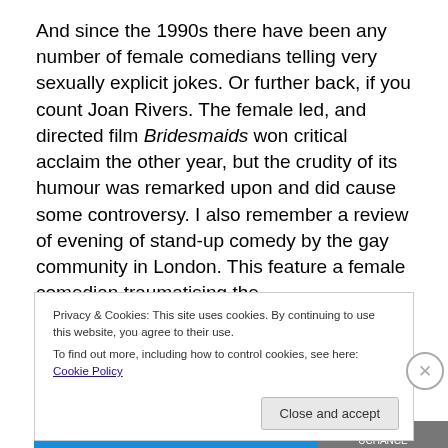And since the 1990s there have been any number of female comedians telling very sexually explicit jokes. Or further back, if you count Joan Rivers. The female led, and directed film Bridesmaids won critical acclaim the other year, but the crudity of its humour was remarked upon and did cause some controversy. I also remember a review of evening of stand-up comedy by the gay community in London. This feature a female comedian traumatising the
Privacy & Cookies: This site uses cookies. By continuing to use this website, you agree to their use.
To find out more, including how to control cookies, see here: Cookie Policy